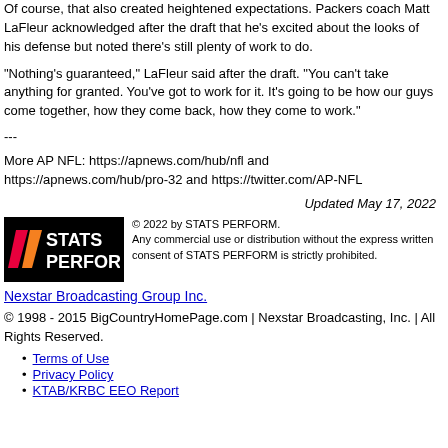Of course, that also created heightened expectations. Packers coach Matt LaFleur acknowledged after the draft that he's excited about the looks of his defense but noted there's still plenty of work to do.
"Nothing's guaranteed," LaFleur said after the draft. "You can't take anything for granted. You've got to work for it. It's going to be how our guys come together, how they come back, how they come to work."
---
More AP NFL: https://apnews.com/hub/nfl and https://apnews.com/hub/pro-32 and https://twitter.com/AP-NFL
Updated May 17, 2022
[Figure (logo): STATS PERFORM logo — black background with colored slash marks and white text]
© 2022 by STATS PERFORM. Any commercial use or distribution without the express written consent of STATS PERFORM is strictly prohibited.
Nexstar Broadcasting Group Inc.
© 1998 - 2015 BigCountryHomePage.com | Nexstar Broadcasting, Inc. | All Rights Reserved.
Terms of Use
Privacy Policy
KTAB/KRBC EEO Report